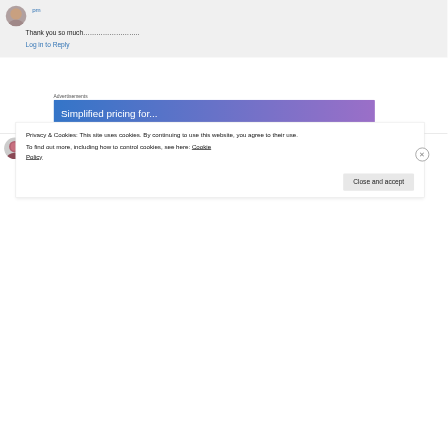pm
Thank you so much…………………..
Log in to Reply
Advertisements
[Figure (other): Advertisement banner with blue-purple gradient reading 'Simplified pricing for']
pomegranateandchintz on November 10, 2014 at 4:51 pm
Privacy & Cookies: This site uses cookies. By continuing to use this website, you agree to their use.
To find out more, including how to control cookies, see here: Cookie Policy
Close and accept